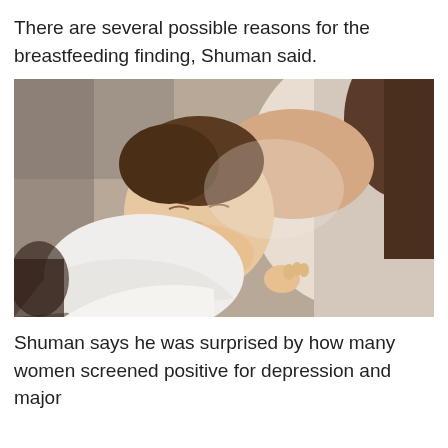There are several possible reasons for the breastfeeding finding, Shuman said.
[Figure (photo): A newborn baby with eyes closed being held and breastfed by a woman, close-up photograph with soft focus background.]
Shuman says he was surprised by how many women screened positive for depression and major